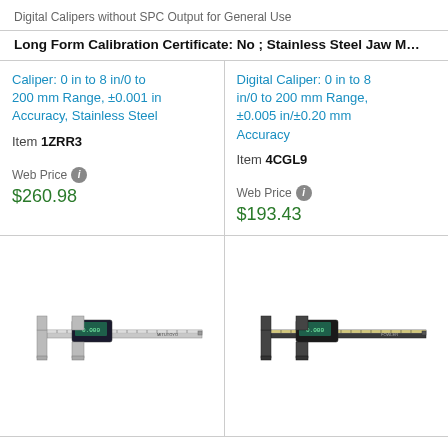Digital Calipers without SPC Output for General Use
Long Form Calibration Certificate: No ; Stainless Steel Jaw M…
Caliper: 0 in to 8 in/0 to 200 mm Range, ±0.001 in Accuracy, Stainless Steel
Item 1ZRR3
Web Price $260.98
Digital Caliper: 0 in to 8 in/0 to 200 mm Range, ±0.005 in/±0.20 mm Accuracy
Item 4CGL9
Web Price $193.43
[Figure (photo): Digital caliper with display, showing a stainless steel jaw caliper with digital readout, measuring range 0-8 in / 0-200 mm]
[Figure (photo): Digital caliper, black body with measuring jaws, showing a digital readout, measuring range 0-8 in / 0-200 mm]